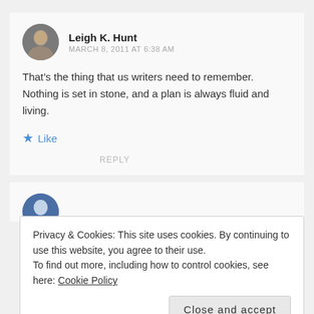[Figure (photo): Circular avatar photo of Leigh K. Hunt, a person with short hair]
Leigh K. Hunt
MARCH 8, 2011 AT 6:38 AM
That’s the thing that us writers need to remember. Nothing is set in stone, and a plan is always fluid and living.
★ Like
REPLY
[Figure (photo): Partial circular avatar of second commenter, partially obscured]
Privacy & Cookies: This site uses cookies. By continuing to use this website, you agree to their use.
To find out more, including how to control cookies, see here: Cookie Policy
Close and accept
dies...